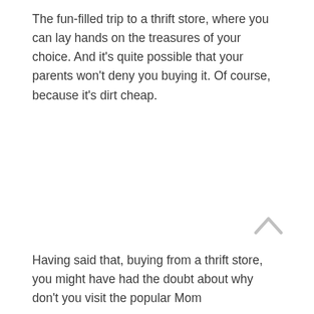The fun-filled trip to a thrift store, where you can lay hands on the treasures of your choice. And it's quite possible that your parents won't deny you buying it. Of course, because it's dirt cheap.
[Figure (other): An upward-pointing chevron/caret arrow icon (navigation arrow up button), light gray color]
Having said that, buying from a thrift store, you might have had the doubt about why don't you visit the popular Mom